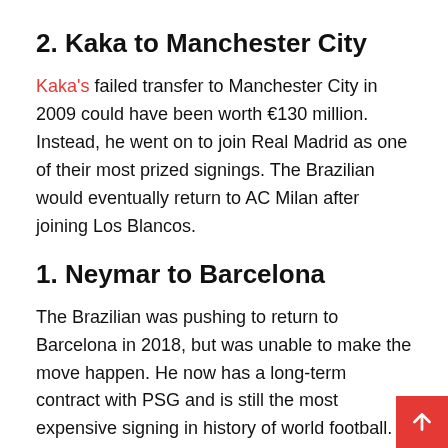2. Kaka to Manchester City
Kaka's failed transfer to Manchester City in 2009 could have been worth €130 million. Instead, he went on to join Real Madrid as one of their most prized signings. The Brazilian would eventually return to AC Milan after joining Los Blancos.
1. Neymar to Barcelona
The Brazilian was pushing to return to Barcelona in 2018, but was unable to make the move happen. He now has a long-term contract with PSG and is still the most expensive signing in history of world football.
Like this:
Loading...